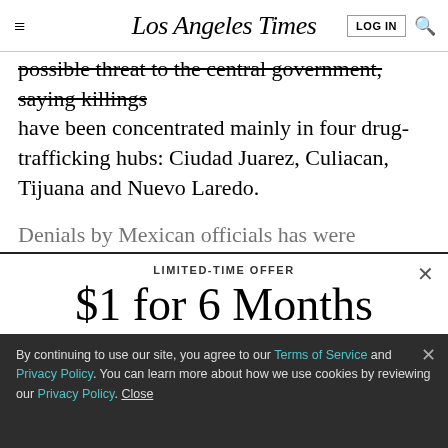Los Angeles Times
possible threat to the central government, saying killings have been concentrated mainly in four drug-trafficking hubs: Ciudad Juarez, Culiacan, Tijuana and Nuevo Laredo.
Denials by Mexican officials has were embarassment
LIMITED-TIME OFFER
$1 for 6 Months
SUBSCRIBE NOW
By continuing to use our site, you agree to our Terms of Service and Privacy Policy. You can learn more about how we use cookies by reviewing our Privacy Policy. Close